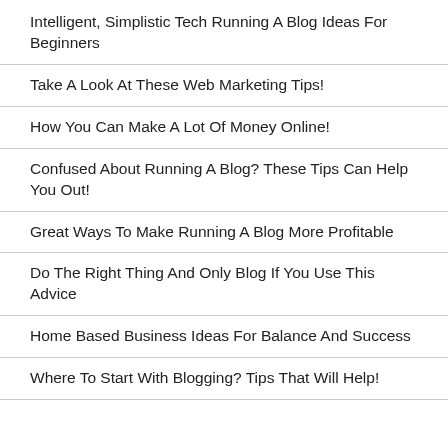Intelligent, Simplistic Tech Running A Blog Ideas For Beginners
Take A Look At These Web Marketing Tips!
How You Can Make A Lot Of Money Online!
Confused About Running A Blog? These Tips Can Help You Out!
Great Ways To Make Running A Blog More Profitable
Do The Right Thing And Only Blog If You Use This Advice
Home Based Business Ideas For Balance And Success
Where To Start With Blogging? Tips That Will Help!